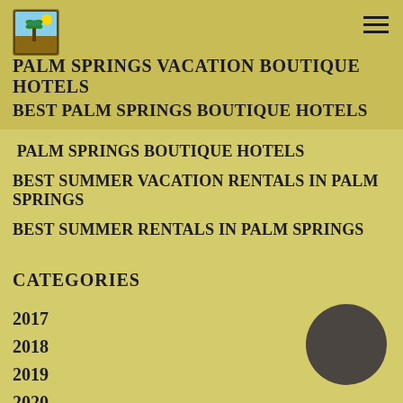PALM SPRINGS VACATION BOUTIQUE HOTELS
BEST PALM SPRINGS BOUTIQUE HOTELS
PALM SPRINGS BOUTIQUE HOTELS
BEST SUMMER VACATION RENTALS IN PALM SPRINGS
BEST SUMMER RENTALS IN PALM SPRINGS
CATEGORIES
2017
2018
2019
2020
2021
ACCOMMODATION